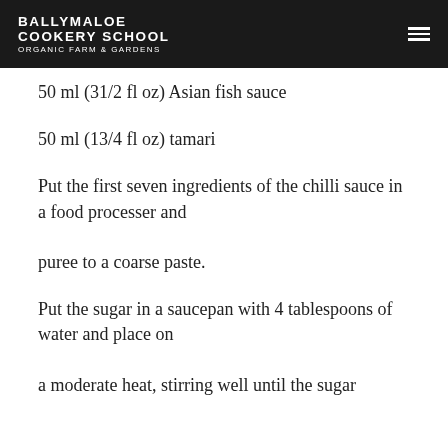BALLYMALOE COOKERY SCHOOL ORGANIC FARM & GARDENS
50 ml (31/2 fl oz) Asian fish sauce
50 ml (13/4 fl oz) tamari
Put the first seven ingredients of the chilli sauce in a food processer and puree to a coarse paste.
Put the sugar in a saucepan with 4 tablespoons of water and place on a moderate heat, stirring well until the sugar dissolves. When it has...